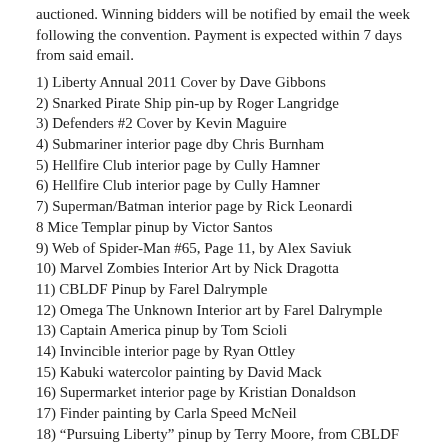auctioned. Winning bidders will be notified by email the week following the convention. Payment is expected within 7 days from said email.
1) Liberty Annual 2011 Cover by Dave Gibbons
2) Snarked Pirate Ship pin-up by Roger Langridge
3) Defenders #2 Cover by Kevin Maguire
4) Submariner interior page dby Chris Burnham
5) Hellfire Club interior page by Cully Hamner
6) Hellfire Club interior page by Cully Hamner
7) Superman/Batman interior page by Rick Leonardi
8 Mice Templar pinup by Victor Santos
9) Web of Spider-Man #65, Page 11, by Alex Saviuk
10) Marvel Zombies Interior Art by Nick Dragotta
11) CBLDF Pinup by Farel Dalrymple
12) Omega The Unknown Interior art by Farel Dalrymple
13) Captain America pinup by Tom Scioli
14) Invincible interior page by Ryan Ottley
15) Kabuki watercolor painting by David Mack
16) Supermarket interior page by Kristian Donaldson
17) Finder painting by Carla Speed McNeil
18) “Pursuing Liberty” pinup by Terry Moore, from CBLDF Liberty Annual 2011
19) Hawkman pin-up by Bill Sienkiewicz
20) Ray Fawkes vampire pin-up
21) Underground pin-up by Steve Lieber
22) Muppet Show #6 cover by Roger Langridge